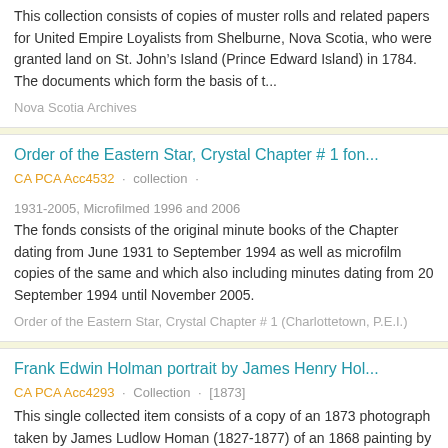This collection consists of copies of muster rolls and related papers for United Empire Loyalists from Shelburne, Nova Scotia, who were granted land on St. John's Island (Prince Edward Island) in 1784. The documents which form the basis of t...
Nova Scotia Archives
Order of the Eastern Star, Crystal Chapter # 1 fon...
CA PCA Acc4532 · collection · 1931-2005, Microfilmed 1996 and 2006
The fonds consists of the original minute books of the Chapter dating from June 1931 to September 1994 as well as microfilm copies of the same and which also including minutes dating from 20 September 1994 until November 2005.
Order of the Eastern Star, Crystal Chapter # 1 (Charlottetown, P.E.I.)
Frank Edwin Holman portrait by James Henry Hol...
CA PCA Acc4293 · Collection · [1873]
This single collected item consists of a copy of an 1873 photograph taken by James Ludlow Homan (1827-1877) of an 1868 painting by James Henry Holman (1824-1891). The image depicts Frank Edwin Holman (1864-1927), age 4, son of James Ludlow and Ada...
Holman, James Ludlow